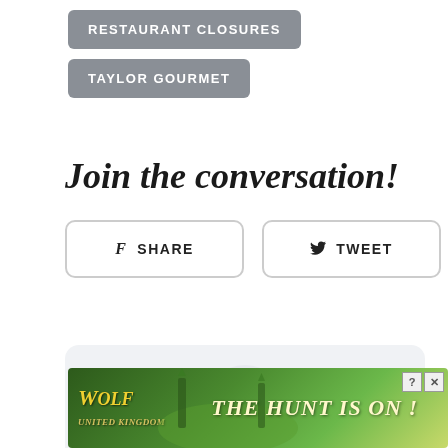RESTAURANT CLOSURES
TAYLOR GOURMET
Join the conversation!
f  SHARE
y  TWEET
[Figure (screenshot): Comment section loading spinner inside a light gray rounded box]
[Figure (other): Wolf Game advertisement banner with wolves and text THE HUNT IS ON!]